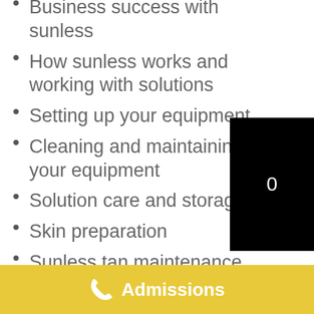Business success with sunless
How sunless works and working with solutions
Setting up your equipment
Cleaning and maintaining your equipment
Solution care and storage
Skin preparation
Sunless tan maintenance
Airbrush application
Face & body techniques
Admissions